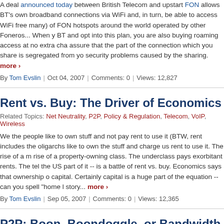A deal announced today between British Telecom and upstart FON allows BT's own broadband connections via WiFi and, in turn, be able to access WiFi free many) of FON hotspots around the world operated by other Foneros... When you BT and opt into this plan, you are also buying roaming access at no extra charge assure that the part of the connection which you share is segregated from yo security problems caused by the sharing. more ›
By Tom Evslin | Oct 04, 2007 | Comments: 0 | Views: 12,827
Rent vs. Buy: The Driver of Economics
Related Topics: Net Neutrality, P2P, Policy & Regulation, Telecom, VoIP, Wireless
We the people like to own stuff and not pay rent to use it (BTW, rent includes the oligarchs like to own the stuff and charge us rent to use it. The rise of a m rise of a property-owning class. The underclass pays exorbitant rents. The tel the US part of it -- is a battle of rent vs. buy. Economics says that ownership o capital. Certainly capital is a huge part of the equation -- can you spell "home l story... more ›
By Tom Evslin | Sep 05, 2007 | Comments: 0 | Views: 12,365
P2P: Boon, Boondoggle, or Bandwidth Hog? (The Dark
Related Topics: Access Providers, Broadband, Net Neutrality, P2P, Policy & Regu